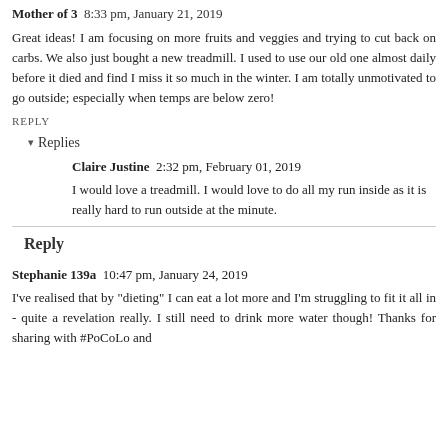Mother of 3  8:33 pm, January 21, 2019
Great ideas! I am focusing on more fruits and veggies and trying to cut back on carbs. We also just bought a new treadmill. I used to use our old one almost daily before it died and find I miss it so much in the winter. I am totally unmotivated to go outside; especially when temps are below zero!
REPLY
Replies
Claire Justine  2:32 pm, February 01, 2019
I would love a treadmill. I would love to do all my run inside as it is really hard to run outside at the minute.
Reply
Stephanie 139a  10:47 pm, January 24, 2019
I've realised that by "dieting" I can eat a lot more and I'm struggling to fit it all in - quite a revelation really. I still need to drink more water though! Thanks for sharing with #PoCoLo and